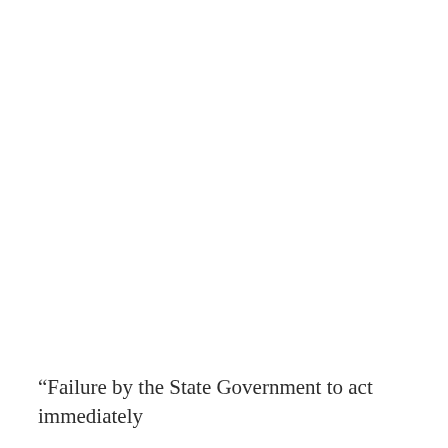“Failure by the State Government to act immediately